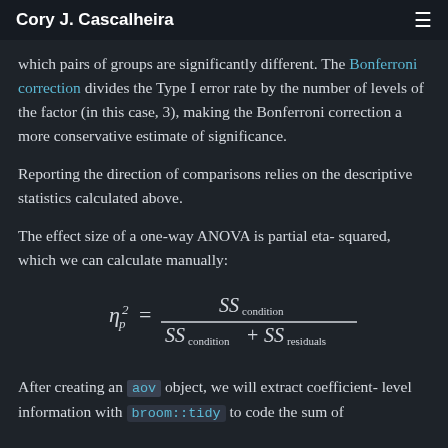Cory J. Cascalheira
which pairs of groups are significantly different. The Bonferroni correction divides the Type I error rate by the number of levels of the factor (in this case, 3), making the Bonferroni correction a more conservative estimate of significance.
Reporting the direction of comparisons relies on the descriptive statistics calculated above.
The effect size of a one-way ANOVA is partial eta-squared, which we can calculate manually:
After creating an aov object, we will extract coefficient-level information with broom::tidy to code the sum of